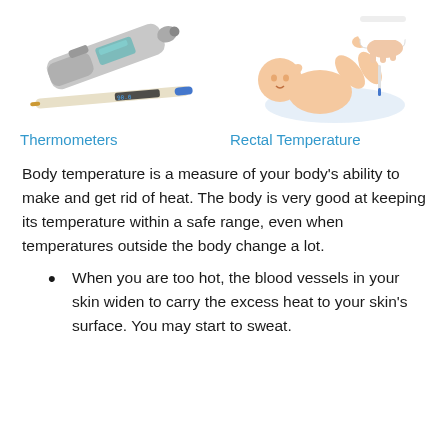[Figure (photo): Two thermometers: an ear/infrared thermometer on top and a digital oral thermometer below]
Thermometers
[Figure (illustration): Medical illustration of an adult taking a baby's rectal temperature, with the baby lying on its back]
Rectal Temperature
Body temperature is a measure of your body's ability to make and get rid of heat. The body is very good at keeping its temperature within a safe range, even when temperatures outside the body change a lot.
When you are too hot, the blood vessels in your skin widen to carry the excess heat to your skin's surface. You may start to sweat.